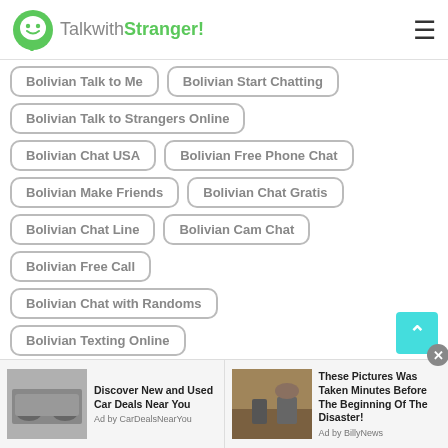TalkwithStranger!
Bolivian Talk to Me
Bolivian Start Chatting
Bolivian Talk to Strangers Online
Bolivian Chat USA
Bolivian Free Phone Chat
Bolivian Make Friends
Bolivian Chat Gratis
Bolivian Chat Line
Bolivian Cam Chat
Bolivian Free Call
Bolivian Chat with Randoms
Bolivian Texting Online
[Figure (screenshot): Ad: Discover New and Used Car Deals Near You - Ad by CarDealsNearYou]
[Figure (screenshot): Ad: These Pictures Was Taken Minutes Before The Beginning Of The Disaster! - Ad by BillyNews]